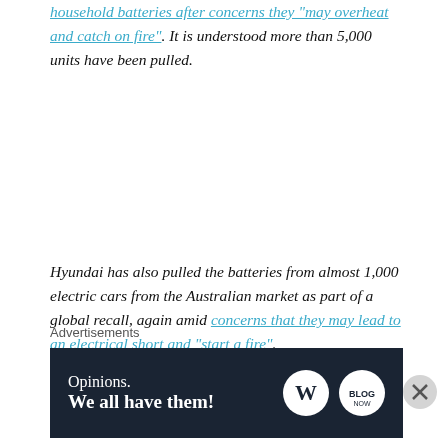(formerly LG Chem, has recalled a suite of household batteries after concerns they "may overheat and catch on fire". It is understood more than 5,000 units have been pulled.
Hyundai has also pulled the batteries from almost 1,000 electric cars from the Australian market as part of a global recall, again amid concerns that they may lead to an electrical short and "start a fire".
ABC News can reveal that thousands of these products are now starting to be processed by battery recyclers in Melbourne.
Advertisements
[Figure (other): Advertisement banner with dark navy background. Left side shows text: 'Opinions. We all have them!' in white serif font. Right side shows WordPress logo circle and another circular logo icon.]